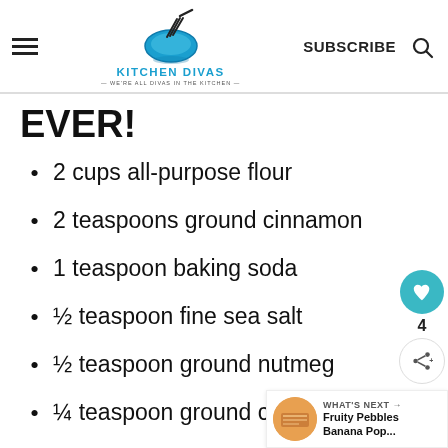Kitchen Divas — WE'RE ALL DIVAS IN THE KITCHEN — SUBSCRIBE
EVER!
2 cups all-purpose flour
2 teaspoons ground cinnamon
1 teaspoon baking soda
½ teaspoon fine sea salt
½ teaspoon ground nutmeg
¼ teaspoon ground cloves